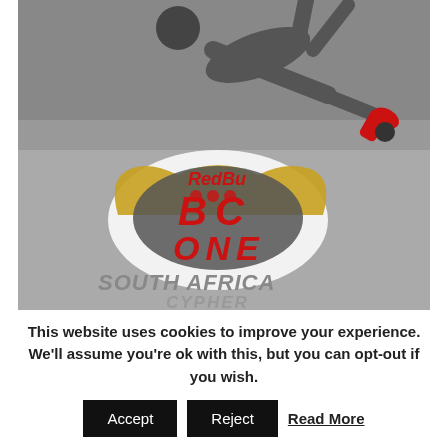[Figure (photo): A breakdancer performing a freeze move above the Red Bull BC One South Africa Cypher logo painted on the ground. The image is in black and white/grayscale with the Red Bull BC One logo showing red and gold colors. Text on the ground reads: Red Bull, BC ONE, SOUTH AFRICA, CYPHER.]
This website uses cookies to improve your experience. We'll assume you're ok with this, but you can opt-out if you wish.
Accept   Reject   Read More